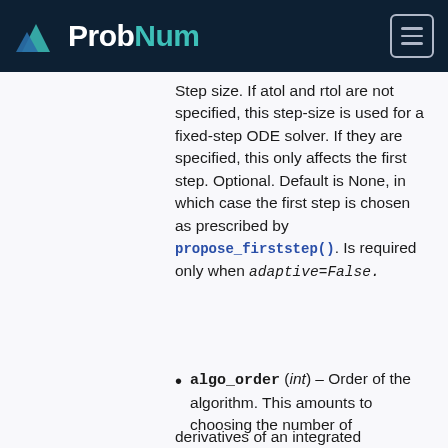ProbNum
Step size. If atol and rtol are not specified, this step-size is used for a fixed-step ODE solver. If they are specified, this only affects the first step. Optional. Default is None, in which case the first step is chosen as prescribed by propose_firststep(). Is required only when adaptive=False.
algo_order (int) – Order of the algorithm. This amounts to choosing the number of derivatives of an integrated...